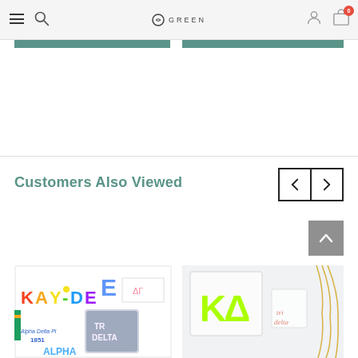GREEN - navigation header with hamburger menu, search, logo, user icon, cart with 0 items
Customers Also Viewed
[Figure (photo): Product photo showing sorority stickers including KAY-DEE, Alpha Delta Pi 1851, Tri Delta, and other Greek letters on colorful stickers]
[Figure (photo): Product photo showing KD (Kappa Delta) neon green acrylic letters in a clear frame with gold necklace and tri delta acrylic piece]